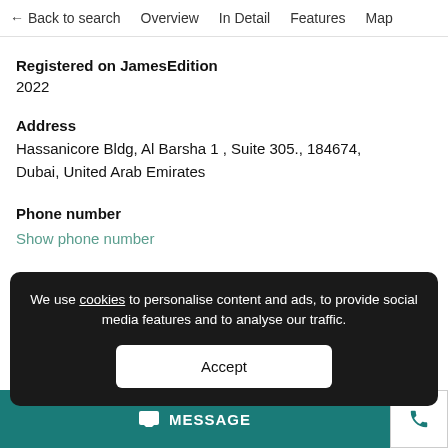← Back to search   Overview   In Detail   Features   Map
Registered on JamesEdition
2022
Address
Hassanicore Bldg, Al Barsha 1 , Suite 305., 184674, Dubai, United Arab Emirates
Phone number
Show phone number
We use cookies to personalise content and ads, to provide social media features and to analyse our traffic.
Accept
MESSAGE